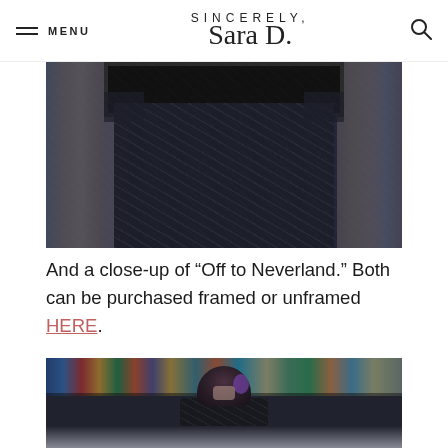MENU | SINCERELY, Sara D. | [search icon]
[Figure (photo): Person in navy floral dress holding a framed artwork in a library/bookshelf setting, photo cropped to show mid-section]
And a close-up of “Off to Neverland.” Both can be purchased framed or unframed HERE.
[Figure (photo): Back of a person with dark hair with purple highlights wearing a navy floral dress, standing in front of bookshelves, partially cut off at bottom]